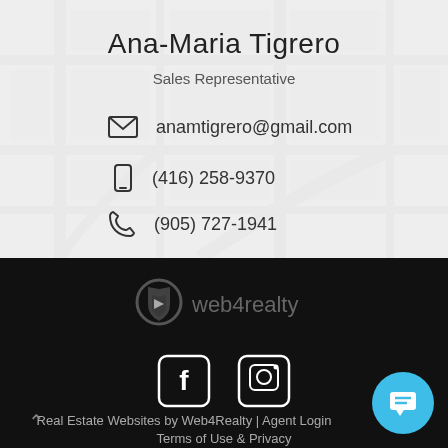Ana-Maria Tigrero
Sales Representative
anamtigrero@gmail.com
(416) 258-9370
(905) 727-1941
[Figure (logo): web4realty logo with globe/shield icon and text 'web4realty']
[Figure (illustration): Facebook and Instagram social media icon buttons in white on black background]
Real Estate Websites by Web4Realty | Agent Login
Terms of Use & Privacy